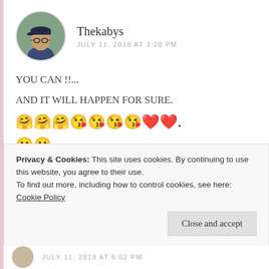[Figure (photo): Circular avatar photo of Thekabys, a person wearing a cap and glasses outdoors]
Thekabys
JULY 11, 2018 AT 3:20 PM
YOU CAN !!...
AND IT WILL HAPPEN FOR SURE.
🤗🤗🤗😘😘😘😘❤️❤️. 🙂🙂
★ Liked by 1 person
Privacy & Cookies: This site uses cookies. By continuing to use this website, you agree to their use.
To find out more, including how to control cookies, see here: Cookie Policy
Close and accept
JULY 11, 2018 AT 6:02 PM